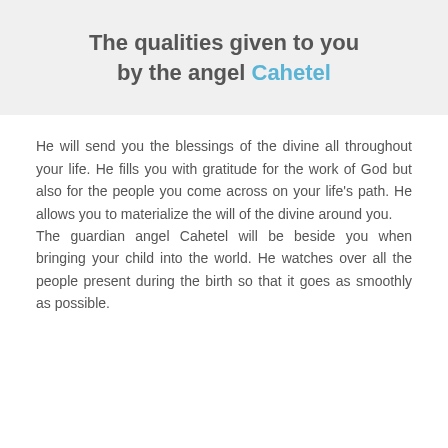The qualities given to you by the angel Cahetel
He will send you the blessings of the divine all throughout your life. He fills you with gratitude for the work of God but also for the people you come across on your life's path. He allows you to materialize the will of the divine around you.
The guardian angel Cahetel will be beside you when bringing your child into the world. He watches over all the people present during the birth so that it goes as smoothly as possible.